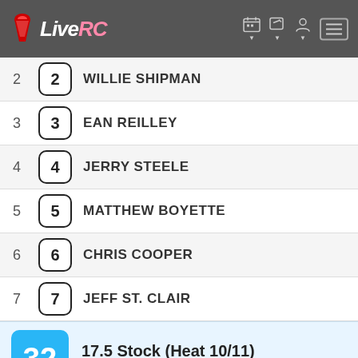LiveRC
2  WILLIE SHIPMAN
3  EAN REILLEY
4  JERRY STEELE
5  MATTHEW BOYETTE
6  CHRIS COOPER
7  JEFF ST. CLAIR
32  17.5 Stock (Heat 10/11)  Length: 4:00 Timed  Status: Complete (View Results)
| Pos | Car # / Driver | Seed # | Seed Result |
| --- | --- | --- | --- |